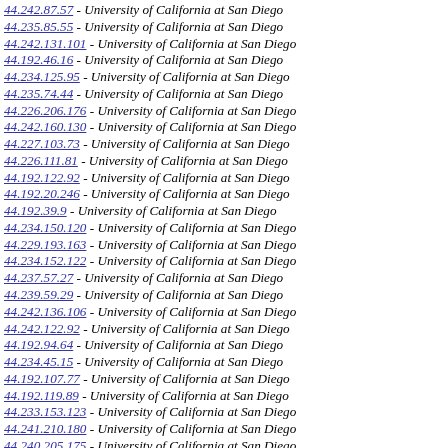44.242.87.57 - University of California at San Diego
44.235.85.55 - University of California at San Diego
44.242.131.101 - University of California at San Diego
44.192.46.16 - University of California at San Diego
44.234.125.95 - University of California at San Diego
44.235.74.44 - University of California at San Diego
44.226.206.176 - University of California at San Diego
44.242.160.130 - University of California at San Diego
44.227.103.73 - University of California at San Diego
44.226.111.81 - University of California at San Diego
44.192.122.92 - University of California at San Diego
44.192.20.246 - University of California at San Diego
44.192.39.9 - University of California at San Diego
44.234.150.120 - University of California at San Diego
44.229.193.163 - University of California at San Diego
44.234.152.122 - University of California at San Diego
44.237.57.27 - University of California at San Diego
44.239.59.29 - University of California at San Diego
44.242.136.106 - University of California at San Diego
44.242.122.92 - University of California at San Diego
44.192.94.64 - University of California at San Diego
44.234.45.15 - University of California at San Diego
44.192.107.77 - University of California at San Diego
44.192.119.89 - University of California at San Diego
44.233.153.123 - University of California at San Diego
44.241.210.180 - University of California at San Diego
44.240.205.175 - University of California at San Diego
44.236.212.182 - University of California at San Diego
44.242.141.111 - University of California at San Diego
44.234.146.116 - University of California at San Diego